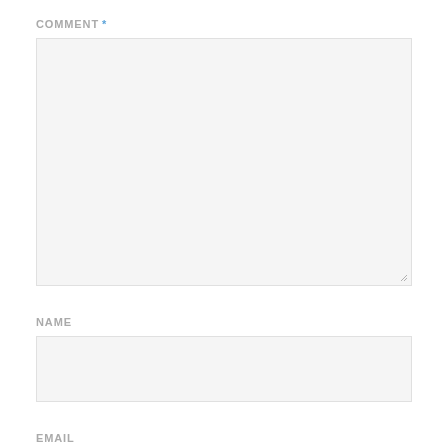COMMENT *
[Figure (other): Empty textarea form field with resize handle in bottom-right corner]
NAME
[Figure (other): Empty single-line text input field for Name]
EMAIL
[Figure (other): Empty single-line text input field for Email (partially visible)]